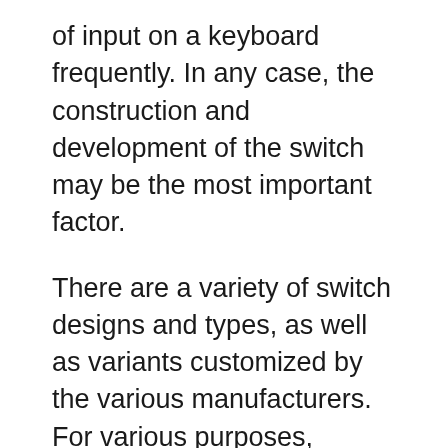of input on a keyboard frequently. In any case, the construction and development of the switch may be the most important factor.
There are a variety of switch designs and types, as well as variants customized by the various manufacturers. For various purposes, devotees consider a number of “Best Mechanical Switches for Gaming”.
Defining Different Switch Terms